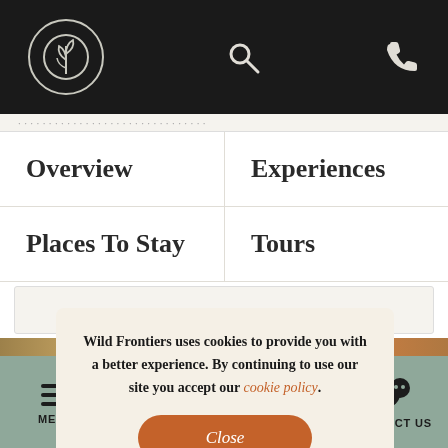[Figure (logo): Wild Frontiers circular logo with stylized tree/plant symbol in white on dark background, top navigation bar with search and phone icons]
Overview
Experiences
Places To Stay
Tours
Wild Frontiers uses cookies to provide you with a better experience. By continuing to use our site you accept our cookie policy.
Close
MENU  DESTINATIONS  INSPIRATION  CONTACT US